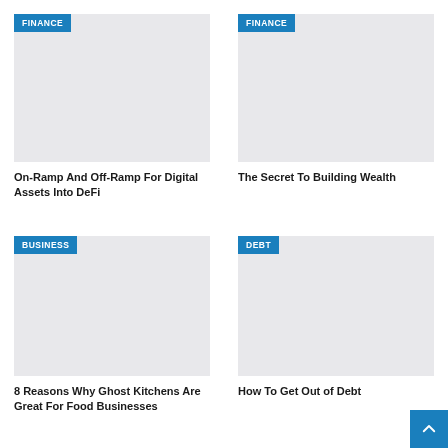[Figure (photo): Article thumbnail image placeholder - light gray, FINANCE badge top left]
On-Ramp And Off-Ramp For Digital Assets Into DeFi
[Figure (photo): Article thumbnail image placeholder - light gray, FINANCE badge top left]
The Secret To Building Wealth
[Figure (photo): Article thumbnail image placeholder - light gray, BUSINESS badge top left]
8 Reasons Why Ghost Kitchens Are Great For Food Businesses
[Figure (photo): Article thumbnail image placeholder - light gray, DEBT badge top left]
How To Get Out of Debt